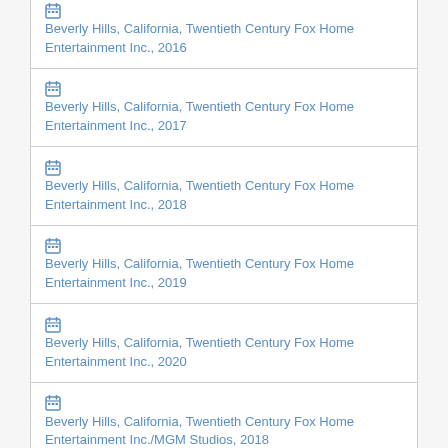Beverly Hills, California, Twentieth Century Fox Home Entertainment Inc., 2016
Beverly Hills, California, Twentieth Century Fox Home Entertainment Inc., 2017
Beverly Hills, California, Twentieth Century Fox Home Entertainment Inc., 2018
Beverly Hills, California, Twentieth Century Fox Home Entertainment Inc., 2019
Beverly Hills, California, Twentieth Century Fox Home Entertainment Inc., 2020
Beverly Hills, California, Twentieth Century Fox Home Entertainment Inc./MGM Studios, 2018
Beverly Hills, California, Twentieth Century Fox Home Entertainment LLC, 2005
Beverly Hills, California, Twentieth Century Fox Home Entertainment LLC, 2006